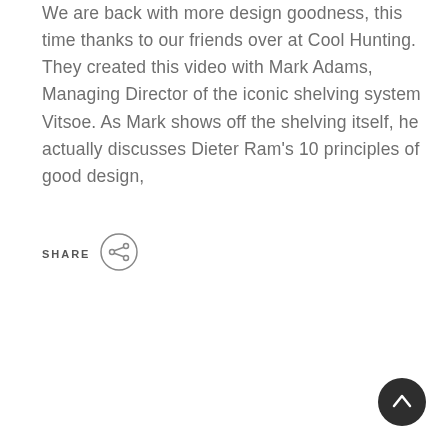We are back with more design goodness, this time thanks to our friends over at Cool Hunting. They created this video with Mark Adams, Managing Director of the iconic shelving system Vitsoe. As Mark shows off the shelving itself, he actually discusses Dieter Ram's 10 principles of good design,
SHARE
[Figure (other): Share icon: a circle containing a share/network symbol with three dots connected by lines]
[Figure (other): Back-to-top button: dark circle with a white upward chevron arrow]